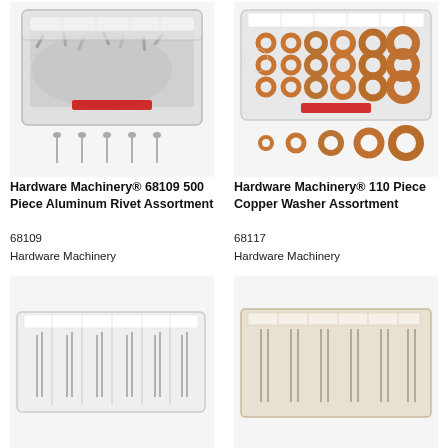[Figure (photo): Hardware Machinery 68109 500 Piece Aluminum Rivet Assortment kit in plastic case with individual rivets shown below]
[Figure (photo): Hardware Machinery 110 Piece Copper Washer Assortment kit in plastic case with individual washers shown below]
Hardware Machinery® 68109 500 Piece Aluminum Rivet Assortment
Hardware Machinery® 110 Piece Copper Washer Assortment
68109
Hardware Machinery
68117
Hardware Machinery
[Figure (photo): Hardware Machinery cotter pin or needle assortment in white plastic organizer case]
[Figure (photo): Hardware Machinery needle or pin assortment on beige/tan backing card]